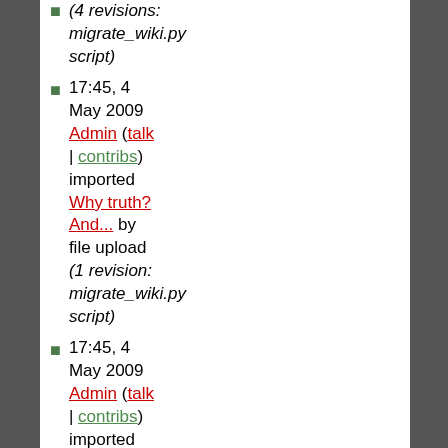(4 revisions: migrate_wiki.py script)
17:45, 4 May 2009 Admin (talk | contribs) imported Why truth? And... by file upload (1 revision: migrate_wiki.py script)
17:45, 4 May 2009 Admin (talk | contribs) imported Template:Main by file upload (1 revision: migrate_wiki.py